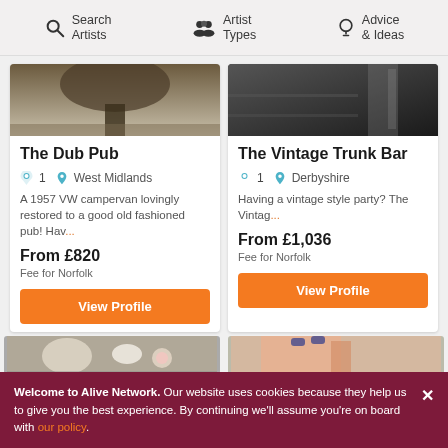Search Artists | Artist Types | Advice & Ideas
[Figure (photo): Top portion of card image for The Dub Pub showing tree/sculpture outdoors]
[Figure (photo): Top portion of card image for The Vintage Trunk Bar showing dark interior]
The Dub Pub
1  West Midlands
A 1957 VW campervan lovingly restored to a good old fashioned pub! Hav...
From £820
Fee for Norfolk
View Profile
The Vintage Trunk Bar
1  Derbyshire
Having a vintage style party? The Vintag...
From £1,036
Fee for Norfolk
View Profile
[Figure (photo): Bottom strip left - outdoor scene with flowers]
[Figure (photo): Bottom strip right - close-up of hand/nails]
Welcome to Alive Network. Our website uses cookies because they help us to give you the best experience. By continuing we'll assume you're on board with our policy.